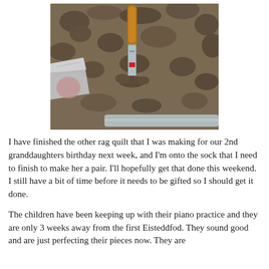[Figure (photo): A garden trowel with a wooden handle stuck into dark, loose soil/dirt. A plastic bag with seeds or bulbs is visible on the left side. A metal or galvanized edging border is visible at the bottom right of the image.]
I have finished the other rag quilt that I was making for our 2nd granddaughters birthday next week, and I'm onto the sock that I need to finish to make her a pair. I'll hopefully get that done this weekend. I still have a bit of time before it needs to be gifted so I should get it done.
The children have been keeping up with their piano practice and they are only 3 weeks away from the first Eisteddfod. They sound good and are just perfecting their pieces now. They are